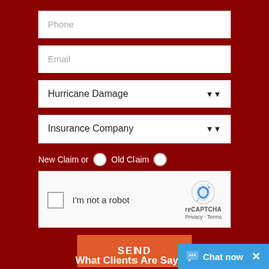[Figure (screenshot): Web form with dark red background. Contains input fields for Phone, Email, Hurricane Damage dropdown, Insurance Company dropdown, New Claim or Old Claim radio buttons, reCAPTCHA widget, SEND button, Chat now widget, and partial 'What Clients Are Say...' heading.]